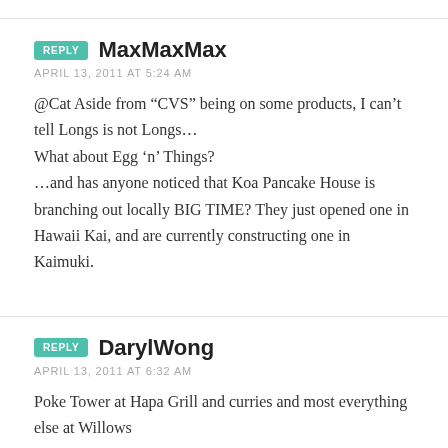REPLY  MaxMaxMax
APRIL 13, 2011 AT 5:24 AM
@Cat Aside from “CVS” being on some products, I can’t tell Longs is not Longs…
What about Egg ‘n’ Things?
…and has anyone noticed that Koa Pancake House is branching out locally BIG TIME? They just opened one in Hawaii Kai, and are currently constructing one in Kaimuki.
REPLY  DarylWong
APRIL 13, 2011 AT 6:32 AM
Poke Tower at Hapa Grill and curries and most everything else at Willows